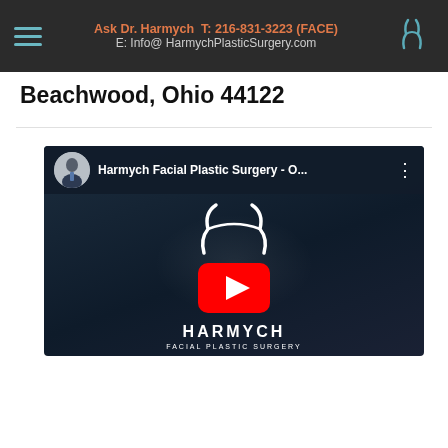Ask Dr. Harmych  T: 216-831-3223 (FACE)  E: Info@HarmychPlasticSurgery.com
Beachwood, Ohio 44122
[Figure (screenshot): Embedded YouTube video player showing Harmych Facial Plastic Surgery channel video with channel avatar, title 'Harmych Facial Plastic Surgery - O...', YouTube play button, and Harmych Facial Plastic Surgery logo on dark navy background]